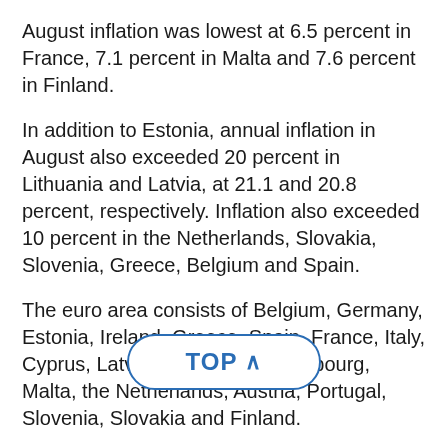August inflation was lowest at 6.5 percent in France, 7.1 percent in Malta and 7.6 percent in Finland.
In addition to Estonia, annual inflation in August also exceeded 20 percent in Lithuania and Latvia, at 21.1 and 20.8 percent, respectively. Inflation also exceeded 10 percent in the Netherlands, Slovakia, Slovenia, Greece, Belgium and Spain.
The euro area consists of Belgium, Germany, Estonia, Ireland, Greece, Spain, France, Italy, Cyprus, Latvia, Lithuania, Luxembourg, Malta, the Netherlands, Austria, Portugal, Slovenia, Slovakia and Finland.
Eurostat, the statistical office of the European Union, publishes a flash estimate at the end of each reference month, with a comp[...] ized indices of consumer prices (H[...] a, EU and member states for the month released